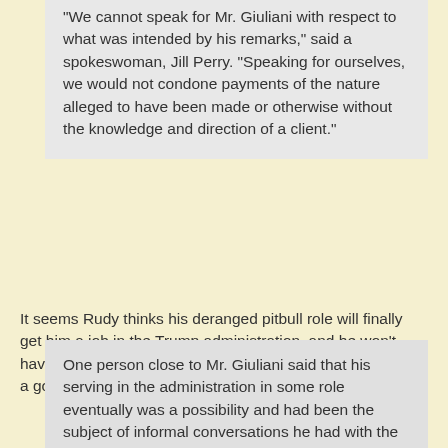"We cannot speak for Mr. Giuliani with respect to what was intended by his remarks," said a spokeswoman, Jill Perry. "Speaking for ourselves, we would not condone payments of the nature alleged to have been made or otherwise without the knowledge and direction of a client."
It seems Rudy thinks his deranged pitbull role will finally get him a job in the Trump administration, and he won't have to worry about dunning Trump for his fees since it'll be a government job.
One person close to Mr. Giuliani said that his serving in the administration in some role eventually was a possibility and had been the subject of informal conversations he had with the president.
Many of the country's top law firms have resisted the prospect of their lawyers representing the president. As Mr. Trump tried to rebuild his legal team this spring, firms told their top lawyers that if they wanted to represent the president, they would have to resign.